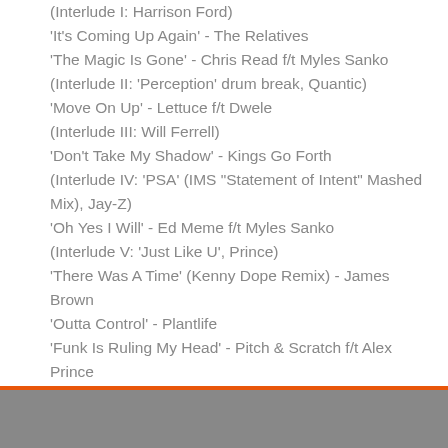(Interlude I: Harrison Ford)
'It's Coming Up Again' - The Relatives
'The Magic Is Gone' - Chris Read f/t Myles Sanko
(Interlude II: 'Perception' drum break, Quantic)
'Move On Up' - Lettuce f/t Dwele
(Interlude III: Will Ferrell)
'Don't Take My Shadow' - Kings Go Forth
(Interlude IV: 'PSA' (IMS "Statement of Intent" Mashed Mix), Jay-Z)
'Oh Yes I Will' - Ed Meme f/t Myles Sanko
(Interlude V: 'Just Like U', Prince)
'There Was A Time' (Kenny Dope Remix) - James Brown
'Outta Control' - Plantlife
'Funk Is Ruling My Head' - Pitch & Scratch f/t Alex Prince
'Soul Intoxication' - Basement Freaks
'Mind Beam' (pts1&2) - Twisted Tongue
(Outro, Roy Ayers)